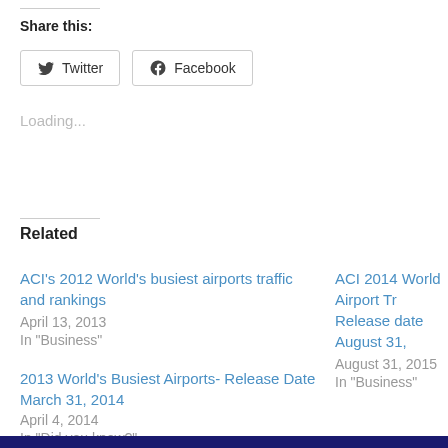Share this:
Twitter  Facebook
Loading...
Related
ACI's 2012 World's busiest airports traffic and rankings
April 13, 2013
In "Business"
ACI 2014 World Airport Tr Release date August 31, ...
August 31, 2015
In "Business"
2013 World's Busiest Airports- Release Date March 31, 2014
April 4, 2014
In "Did you know?"